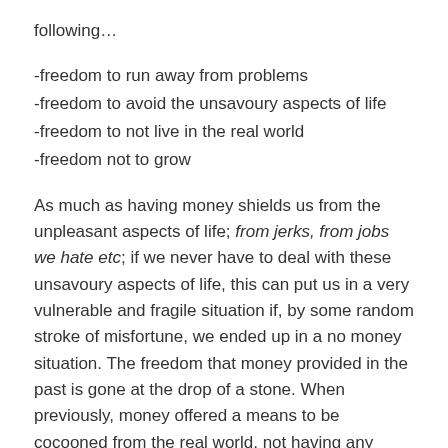following…
-freedom to run away from problems
-freedom to avoid the unsavoury aspects of life
-freedom to not live in the real world
-freedom not to grow
As much as having money shields us from the unpleasant aspects of life; from jerks, from jobs we hate etc; if we never have to deal with these unsavoury aspects of life, this can put us in a very vulnerable and fragile situation if, by some random stroke of misfortune, we ended up in a no money situation. The freedom that money provided in the past is gone at the drop of a stone. When previously, money offered a means to be cocooned from the real world, not having any money now throws us back into it.
It is much better to have money, but at the same